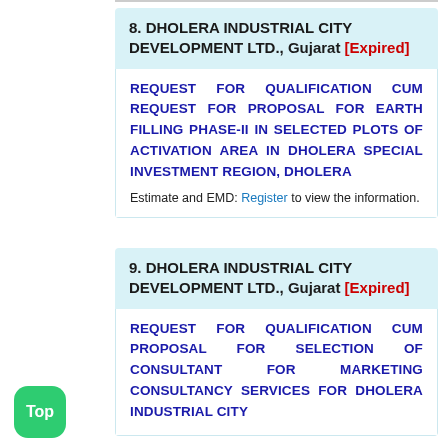8. DHOLERA INDUSTRIAL CITY DEVELOPMENT LTD., Gujarat [Expired]
REQUEST FOR QUALIFICATION CUM REQUEST FOR PROPOSAL FOR EARTH FILLING PHASE-II IN SELECTED PLOTS OF ACTIVATION AREA IN DHOLERA SPECIAL INVESTMENT REGION, DHOLERA
Estimate and EMD: Register to view the information.
9. DHOLERA INDUSTRIAL CITY DEVELOPMENT LTD., Gujarat [Expired]
REQUEST FOR QUALIFICATION CUM PROPOSAL FOR SELECTION OF CONSULTANT FOR MARKETING CONSULTANCY SERVICES FOR DHOLERA INDUSTRIAL CITY